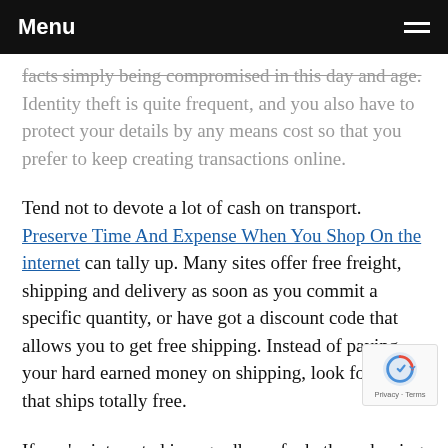Menu
facts simply being compromised in this day and age. Identity theft is quite frequent, and you also have to protect your details by any means cost so that you prefer to keep creating transactions online.
Tend not to devote a lot of cash on transport. Preserve Time And Expense When You Shop On the internet can tally up. Many sites offer free freight, shipping and delivery as soon as you commit a specific quantity, or have got a discount code that allows you to get free shipping. Instead of paying your hard earned money on shipping, look for a shop that ships totally free.
If you're interested in regardless of whether a buying